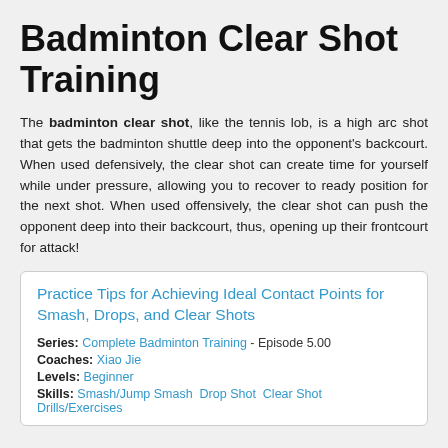Badminton Clear Shot Training
The badminton clear shot, like the tennis lob, is a high arc shot that gets the badminton shuttle deep into the opponent's backcourt. When used defensively, the clear shot can create time for yourself while under pressure, allowing you to recover to ready position for the next shot. When used offensively, the clear shot can push the opponent deep into their backcourt, thus, opening up their frontcourt for attack!
Practice Tips for Achieving Ideal Contact Points for Smash, Drops, and Clear Shots
Series: Complete Badminton Training - Episode 5.00
Coaches: Xiao Jie
Levels: Beginner
Skills: Smash/Jump Smash  Drop Shot  Clear Shot  Drills/Exercises